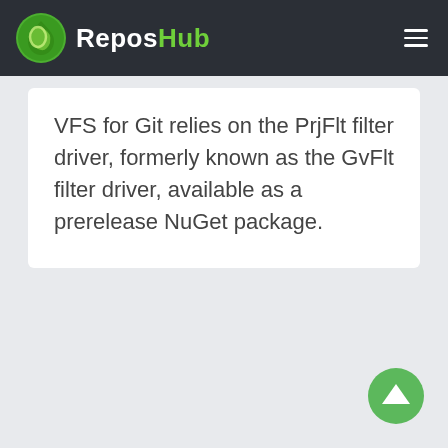ReposHub
VFS for Git relies on the PrjFlt filter driver, formerly known as the GvFlt filter driver, available as a prerelease NuGet package.